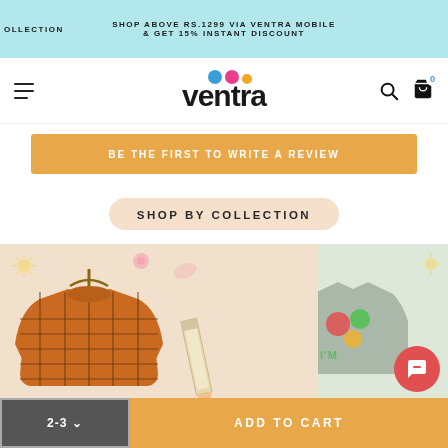OLLECTION | SHOP ABOVE RS.1299 VIA VENTRA MOBILE & GET 15% INSTANT DISCOUNT
[Figure (logo): Ventra logo with colorful dots above the text]
BE THE FIRST TO WRITE A REVIEW
SHOP BY COLLECTION
[Figure (photo): Children's clothing product photo: orange grid sweater on the left, partial grey graphic T-shirt on the right]
2-3 ∨
ADD TO CART